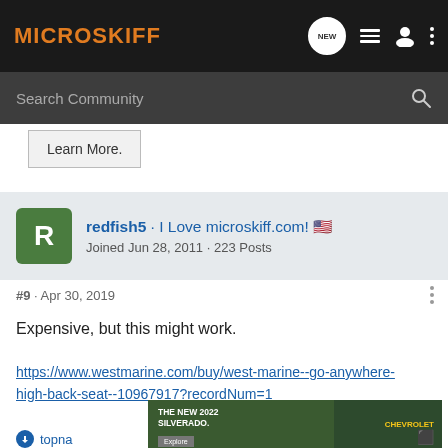MICROSKIFF
Search Community
Learn More.
redfish5 · I Love microskiff.com! 🇺🇸
Joined Jun 28, 2011 · 223 Posts
#9 · Apr 30, 2019
Expensive, but this might work.
https://www.westmarine.com/buy/west-marine--go-anywhere-high-back-seat--10967917?recordNum=1
[Figure (screenshot): Chevrolet Silverado 2022 advertisement banner showing a truck with text 'THE NEW 2022 SILVERADO.' and an 'Explore' button with Chevrolet logo]
topna